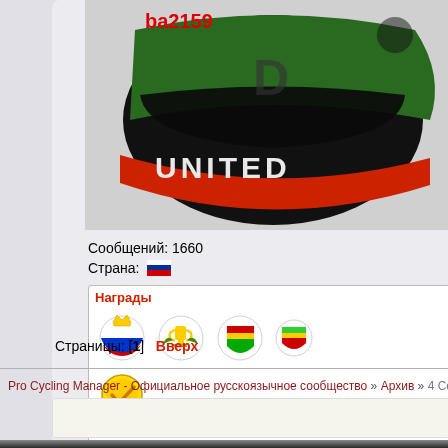[Figure (photo): Racing helmet with colorful livery including red, green, black colors with 'UNITED' text visible, user avatar image]
Сообщений: 1660
Страна: [Russian flag icon]
Награды
[Figure (illustration): Awards/badges row: Russian flag crown badge, gold trophy cup with laurel wreath, green/rainbow shield medals (x2), and a gold medal with checkmark and ribbons]
[Figure (illustration): User icon with small monitor/screen badge]
Страницы: [1]   Вверх
Pro Cycling Manager - Официальное русскоязычное сообщество » Архив » 4 Сезо...